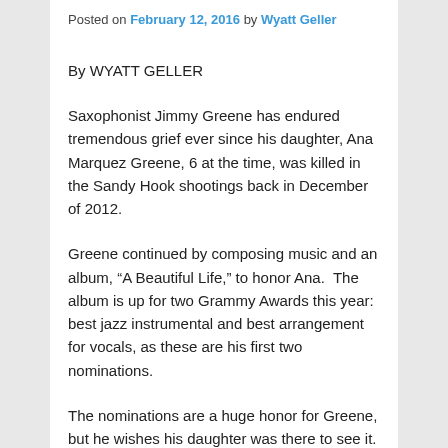Posted on February 12, 2016 by Wyatt Geller
By WYATT GELLER
Saxophonist Jimmy Greene has endured tremendous grief ever since his daughter, Ana Marquez Greene, 6 at the time, was killed in the Sandy Hook shootings back in December of 2012.
Greene continued by composing music and an album, “A Beautiful Life,” to honor Ana.  The album is up for two Grammy Awards this year: best jazz instrumental and best arrangement for vocals, as these are his first two nominations.
The nominations are a huge honor for Greene, but he wishes his daughter was there to see it.
According to ABC News, Greene said, “There is not a day that goes by that doesn’t have tears and just incredible sadness. … Music is a language in and of itself and it’s a